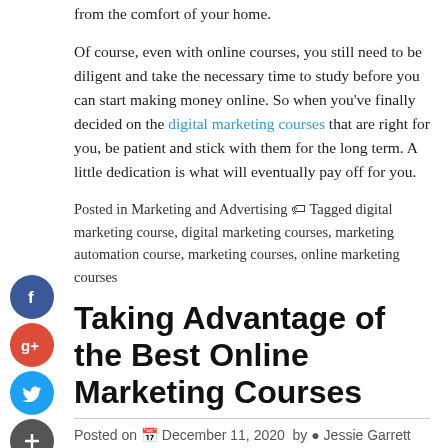from the comfort of your home.
Of course, even with online courses, you still need to be diligent and take the necessary time to study before you can start making money online. So when you've finally decided on the digital marketing courses that are right for you, be patient and stick with them for the long term. A little dedication is what will eventually pay off for you.
Posted in Marketing and Advertising  Tagged digital marketing course, digital marketing courses, marketing automation course, marketing courses, online marketing courses
Taking Advantage of the Best Online Marketing Courses
Posted on  December 11, 2020  by  Jessie Garrett